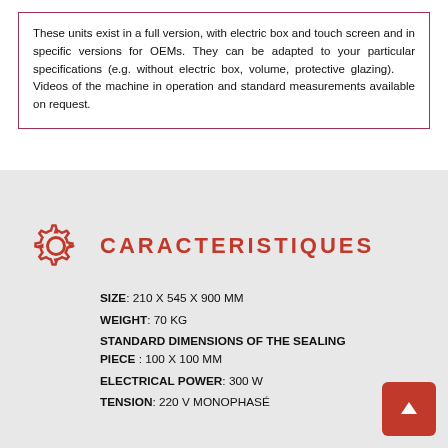These units exist in a full version, with electric box and touch screen and in specific versions for OEMs. They can be adapted to your particular specifications (e.g. without electric box, volume, protective glazing). Videos of the machine in operation and standard measurements available on request.
CARACTERISTIQUES
SIZE: 210 X 545 X 900 MM
WEIGHT: 70 KG
STANDARD DIMENSIONS OF THE SEALING PIECE : 100 X 100 MM
ELECTRICAL POWER: 300 W
TENSION: 220 V MONOPHASÉ